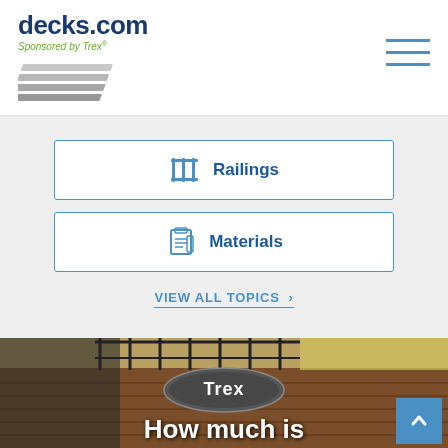[Figure (logo): decks.com logo with 'Sponsored by Trex' tagline and deck board icon, plus hamburger menu icon on right]
Railings
Materials
VIEW ALL TOPICS >
[Figure (photo): Photo of a Trex composite deck with black metal railings, outdoor patio chair, potted orange flowers and pumpkins in autumn setting. Trex logo oval badge overlaid. White text at bottom reads 'How much is']